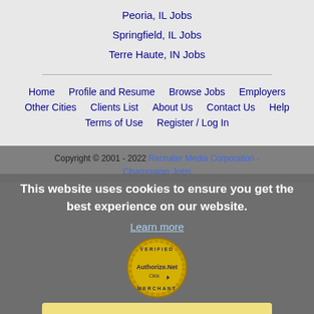Peoria, IL Jobs
Springfield, IL Jobs
Terre Haute, IN Jobs
Home   Profile and Resume   Browse Jobs   Employers   Other Cities   Clients List   About Us   Contact Us   Help   Terms of Use   Register / Log In
Copyright © 2001 - 2022 Recruiter Media Corporation - Champaign Jobs
This website uses cookies to ensure you get the best experience on our website.
Learn more
[Figure (logo): Authorize.Net Verified Merchant Click seal/badge]
Got it!